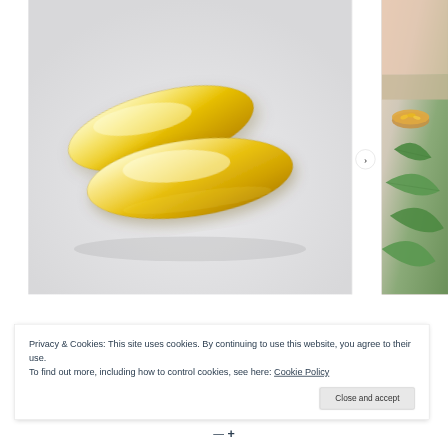[Figure (photo): Two golden/yellow gel capsules (softgels) on a light grey-white background, photographed close-up. The capsules are translucent amber/yellow, oval-shaped, overlapping each other.]
[Figure (photo): Partial view of a secondary image on the right side: shows a small bowl of orange capsules/supplements, green leaves/herbs, and what appears to be a person's skin/arm, on a wooden surface background.]
Privacy & Cookies: This site uses cookies. By continuing to use this website, you agree to their use.
To find out more, including how to control cookies, see here: Cookie Policy
Close and accept